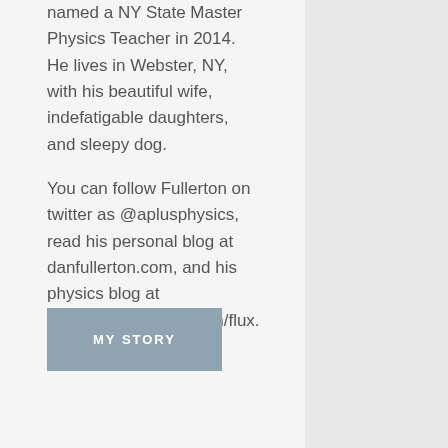named a NY State Master Physics Teacher in 2014. He lives in Webster, NY, with his beautiful wife, indefatigable daughters, and sleepy dog.
You can follow Fullerton on twitter as @aplusphysics, read his personal blog at danfullerton.com, and his physics blog at http://aplusphysics.com/flux.
MY STORY